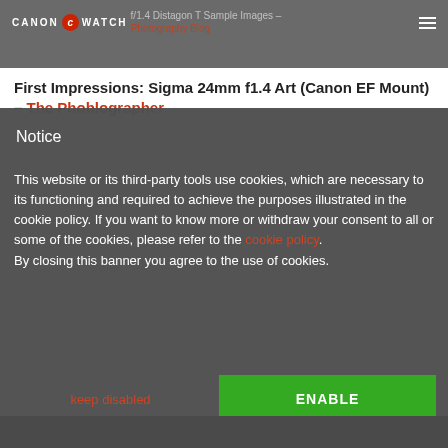CANON C WATCH — Zeiss 21mm f/1.4 Distagon T Sample Images – Photography Blog
First Impressions: Sigma 24mm f1.4 Art (Canon EF Mount) – The Phoblographer
Notice
This website or its third-party tools use cookies, which are necessary to its functioning and required to achieve the purposes illustrated in the cookie policy. If you want to know more or withdraw your consent to all or some of the cookies, please refer to the cookie policy. By closing this banner you agree to the use of cookies.
keep disabled
ENABLE